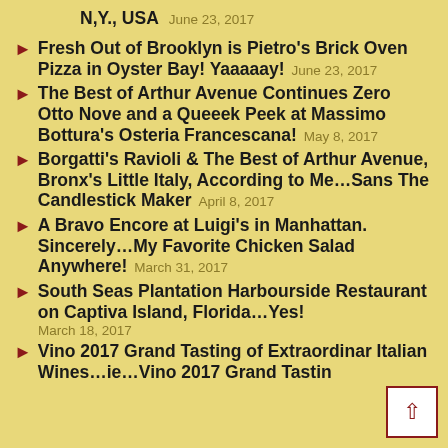N,Y., USA  June 23, 2017
Fresh Out of Brooklyn is Pietro's Brick Oven Pizza in Oyster Bay! Yaaaaay!  June 23, 2017
The Best of Arthur Avenue Continues Zero Otto Nove and a Queeek Peek at Massimo Bottura's Osteria Francescana!  May 8, 2017
Borgatti's Ravioli & The Best of Arthur Avenue, Bronx's Little Italy, According to Me...Sans The Candlestick Maker  April 8, 2017
A Bravo Encore at Luigi's in Manhattan. Sincerely...My Favorite Chicken Salad Anywhere!  March 31, 2017
South Seas Plantation Harbourside Restaurant on Captiva Island, Florida...Yes!  March 18, 2017
Vino 2017 Grand Tasting of Extraordinary Italian Wines...ie...Vino 2017 Grand Tasting...